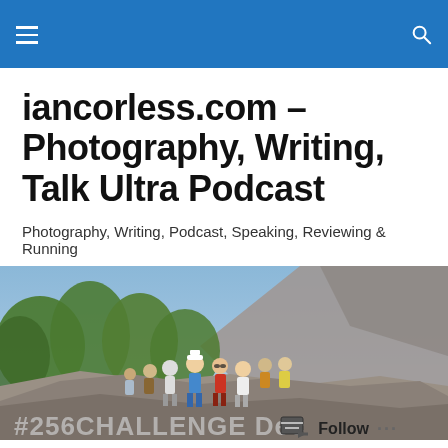iancorless.com navigation bar with hamburger menu and search icon
iancorless.com – Photography, Writing, Talk Ultra Podcast
Photography, Writing, Podcast, Speaking, Reviewing & Running
[Figure (photo): Group of trail runners posing on a rocky mountain ridge with pine trees and a steep mountain face in the background]
#256CHALLENGE Dec...
Follow